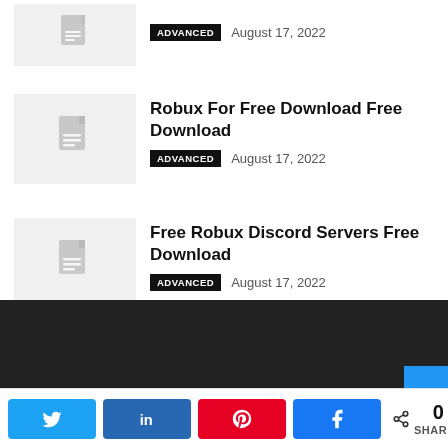[Figure (illustration): Document thumbnail placeholder icon with grey background, partially visible at top]
ADVANCED   August 17, 2022
[Figure (illustration): Document thumbnail placeholder icon with grey background]
Robux For Free Download Free Download
ADVANCED   August 17, 2022
[Figure (illustration): Document thumbnail placeholder icon with grey background]
Free Robux Discord Servers Free Download
ADVANCED   August 17, 2022
Twitter  in  Pinterest  Facebook  0 SHARES